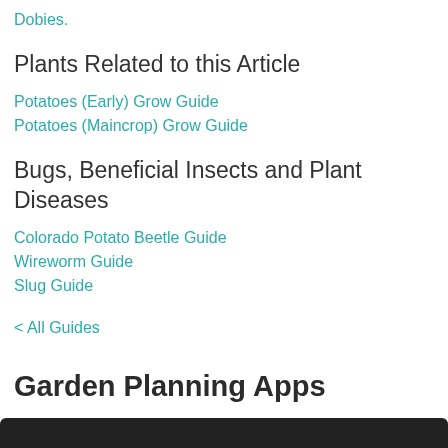Dobies.
Plants Related to this Article
Potatoes (Early) Grow Guide
Potatoes (Maincrop) Grow Guide
Bugs, Beneficial Insects and Plant Diseases
Colorado Potato Beetle Guide
Wireworm Guide
Slug Guide
< All Guides
Garden Planning Apps
If you need help designing your vegetable garden, try our
Vegetable Garden Planner.